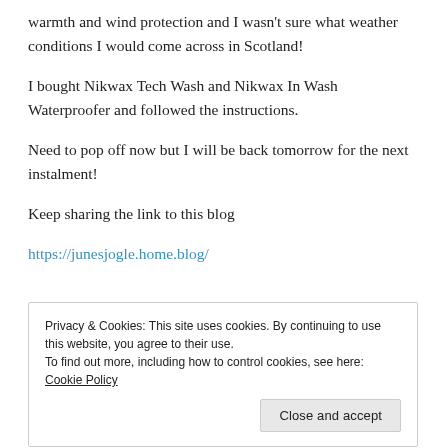warmth and wind protection and I wasn't sure what weather conditions I would come across in Scotland!
I bought Nikwax Tech Wash and Nikwax In Wash Waterproofer and followed the instructions.
Need to pop off now but I will be back tomorrow for the next instalment!
Keep sharing the link to this blog
https://junesjogle.home.blog/
Privacy & Cookies: This site uses cookies. By continuing to use this website, you agree to their use.
To find out more, including how to control cookies, see here: Cookie Policy
Close and accept